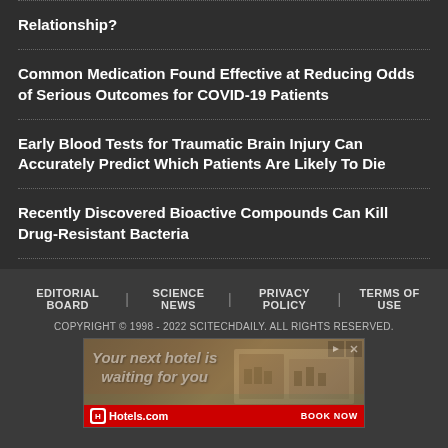Relationship?
Common Medication Found Effective at Reducing Odds of Serious Outcomes for COVID-19 Patients
Early Blood Tests for Traumatic Brain Injury Can Accurately Predict Which Patients Are Likely To Die
Recently Discovered Bioactive Compounds Can Kill Drug-Resistant Bacteria
EDITORIAL BOARD | SCIENCE NEWS | PRIVACY POLICY | TERMS OF USE
COPYRIGHT © 1998 - 2022 SCITECHDAILY. ALL RIGHTS RESERVED.
[Figure (other): Hotels.com advertisement banner: 'Your next hotel is waiting for you' with hotel building photo and BOOK NOW button]